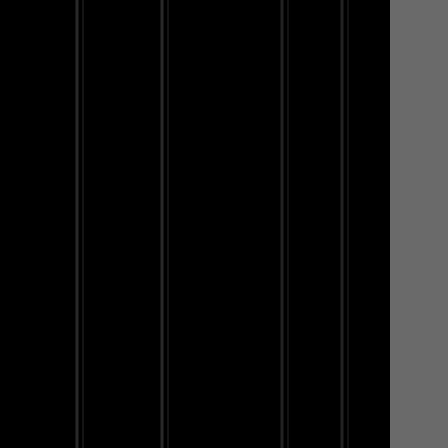LORD-ORION
Join Date 04/2009
+55
[Figure (screenshot): User profile badges row: purple speech bubble badge, pink/purple 1K badge, blue eye badge, dark circle badge, green circle badge, gold circle badge, ellipsis badge]
free 

That this p aware Libet

Whe impu

The s beca verifi of a s abilit

Ultim 100% have meas